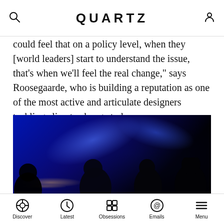QUARTZ
could feel that on a policy level, when they [world leaders] start to understand the issue, that's when we'll feel the real change," says Roosegaarde, who is building a reputation as one of the most active and articulate designers tackling climate change today.
[Figure (photo): Group of people standing and talking in a dark space illuminated by intense blue lighting, with a city skyline visible in the background. Photo credit: SAARDE]
Discover  Latest  Obsessions  Emails  Menu